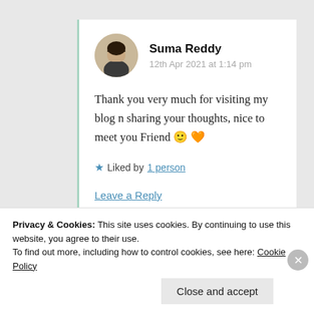Suma Reddy
12th Apr 2021 at 1:14 pm
Thank you very much for visiting my blog n sharing your thoughts, nice to meet you Friend 🙂 🧡
★ Liked by 1 person
Leave a Reply
Privacy & Cookies: This site uses cookies. By continuing to use this website, you agree to their use.
To find out more, including how to control cookies, see here: Cookie Policy
Close and accept